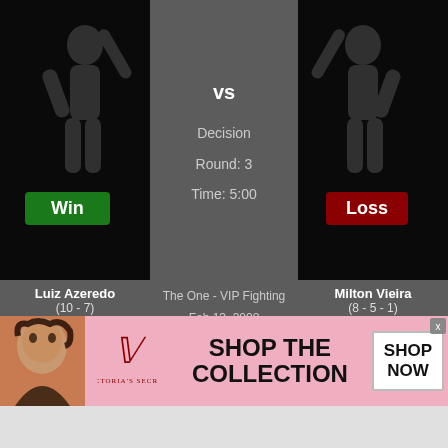[Figure (screenshot): MMA fight result card showing Luiz Azeredo (Win) vs Milton Vieira (Loss), Decision, Round 3, Time 5:00, The One - VIP Fighting, Feb 13 2008, with fighter silhouette images and method badges]
vs
Decision
Round: 3
Time: 5:00
Luiz Azeredo
(10 - 7)
The One - VIP Fighting
Feb 13, 2008
Milton Vieira
(8 - 5 - 1)
Win
Loss
UD KO KO UD UD
D SD SUB SUB UD
[Figure (screenshot): Second fight result card showing Loss vs a fighter (photo), Decision (Unanimous), Round 2, Time 5:00]
vs
Decision (Unanimous)
Round: 2
Time: 5:00
Loss
infolinks
[Figure (advertisement): Victoria's Secret advertisement - SHOP THE COLLECTION, SHOP NOW button, pink background with model photo]